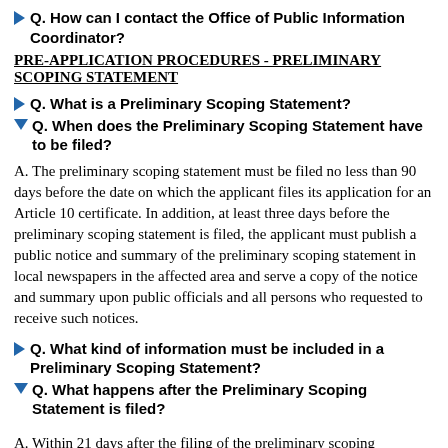Q. How can I contact the Office of Public Information Coordinator?
PRE-APPLICATION PROCEDURES - PRELIMINARY SCOPING STATEMENT
Q. What is a Preliminary Scoping Statement?
Q. When does the Preliminary Scoping Statement have to be filed?
A. The preliminary scoping statement must be filed no less than 90 days before the date on which the applicant files its application for an Article 10 certificate. In addition, at least three days before the preliminary scoping statement is filed, the applicant must publish a public notice and summary of the preliminary scoping statement in local newspapers in the affected area and serve a copy of the notice and summary upon public officials and all persons who requested to receive such notices.
Q. What kind of information must be included in a Preliminary Scoping Statement?
Q. What happens after the Preliminary Scoping Statement is filed?
A. Within 21 days after the filing of the preliminary scoping